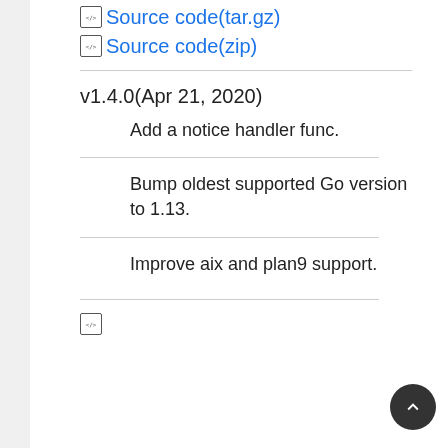Source code(tar.gz)
Source code(zip)
v1.4.0(Apr 21, 2020)
Add a notice handler func.
Bump oldest supported Go version to 1.13.
Improve aix and plan9 support.